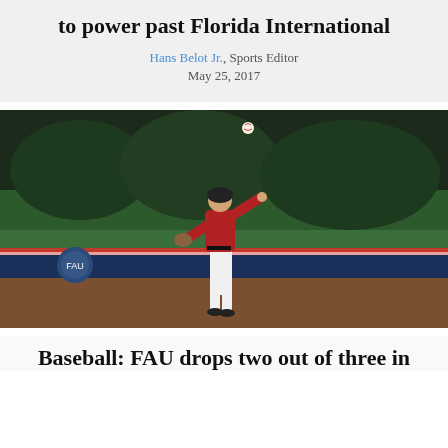to power past Florida International
Hans Belot Jr., Sports Editor
May 25, 2017
[Figure (photo): A baseball player in a red FAU uniform throwing a ball on a baseball field at night, with navy blue outfield wall and trees in background.]
Baseball: FAU drops two out of three in